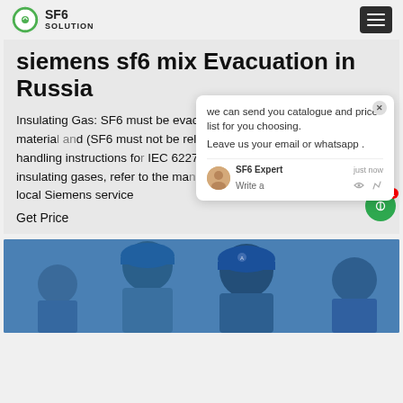SF6 SOLUTION
siemens sf6 mix Evacuation in Russia
Insulating Gas: SF6 must be evacuated professionally as a reusable material and (SF6 must not be released into the – for use and handling instructions for IEC 62271-4, Part 4). When evacuates of insulating gases, refer to the man instructions or contact your local Siemens service
Get Price
[Figure (photo): Two workers in blue uniforms and blue hard hats working on equipment]